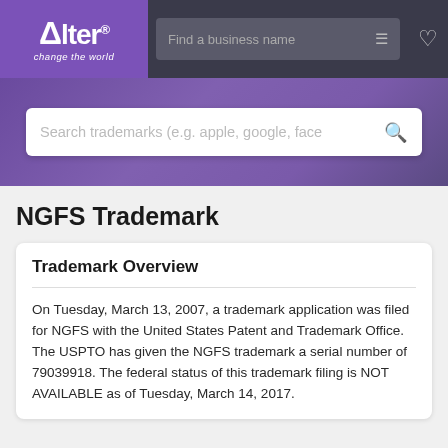[Figure (logo): Alter 'change the world' logo in purple box with navigation header including search bar and heart icon]
[Figure (screenshot): Purple banner with trademark search box placeholder text 'Search trademarks (e.g. apple, google, face']
NGFS Trademark
Trademark Overview
On Tuesday, March 13, 2007, a trademark application was filed for NGFS with the United States Patent and Trademark Office. The USPTO has given the NGFS trademark a serial number of 79039918. The federal status of this trademark filing is NOT AVAILABLE as of Tuesday, March 14, 2017.